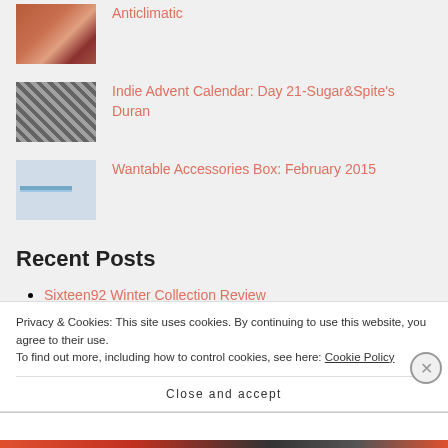Anticlimatic
Indie Advent Calendar: Day 21-Sugar&Spite's Duran
Wantable Accessories Box: February 2015
Recent Posts
Sixteen92 Winter Collection Review
Sunday Funday: Belated Happy Hour-Immortal Beloved
Hafenssizen and Rect Bite Rewind Matte Lip Set
Privacy & Cookies: This site uses cookies. By continuing to use this website, you agree to their use.
To find out more, including how to control cookies, see here: Cookie Policy
Close and accept